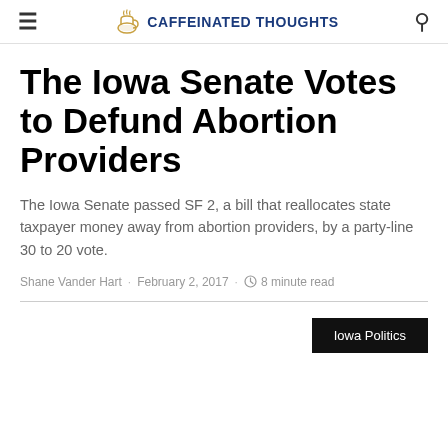CAFFEINATED THOUGHTS
The Iowa Senate Votes to Defund Abortion Providers
The Iowa Senate passed SF 2, a bill that reallocates state taxpayer money away from abortion providers, by a party-line 30 to 20 vote.
Shane Vander Hart · February 2, 2017 · 8 minute read
Iowa Politics